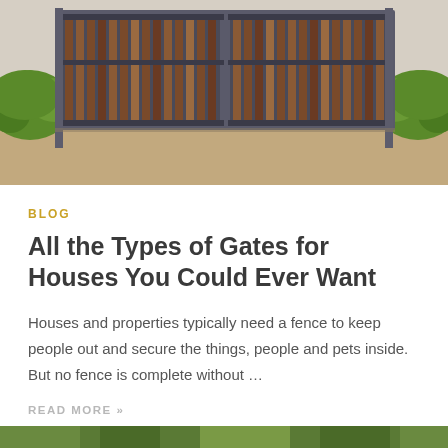[Figure (photo): Large double gate with dark wood slats in a metal frame, flanked by green hedges, with a concrete driveway in front]
BLOG
All the Types of Gates for Houses You Could Ever Want
Houses and properties typically need a fence to keep people out and secure the things, people and pets inside. But no fence is complete without …
READ MORE »
[Figure (photo): Partial bottom strip of a photo showing green foliage/landscape]